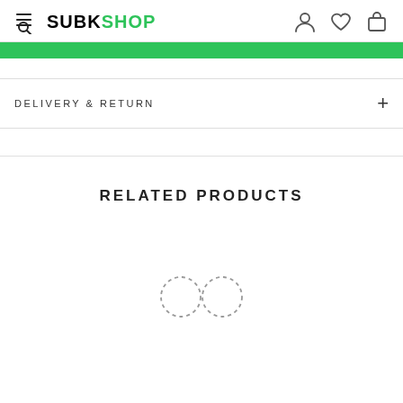SUBKSHOP
DELIVERY & RETURN
RELATED PRODUCTS
[Figure (illustration): Infinity/loading spinner symbol made of dashed lines forming two overlapping circles in an infinity shape]